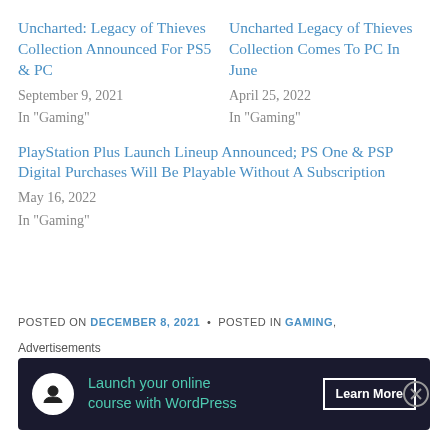Uncharted: Legacy of Thieves Collection Announced For PS5 & PC
September 9, 2021
In "Gaming"
Uncharted Legacy of Thieves Collection Comes To PC In June
April 25, 2022
In "Gaming"
PlayStation Plus Launch Lineup Announced; PS One & PSP Digital Purchases Will Be Playable Without A Subscription
May 16, 2022
In "Gaming"
POSTED ON DECEMBER 8, 2021 • POSTED IN GAMING,
Advertisements
[Figure (other): Advertisement banner: dark navy background with a white circle icon showing a figure/person logo, teal text 'Launch your online course with WordPress', and a white-outlined button 'Learn More']